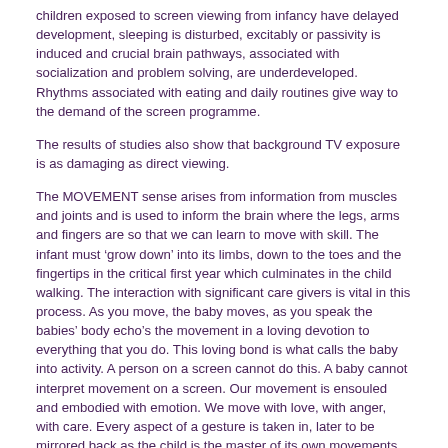children exposed to screen viewing from infancy have delayed development, sleeping is disturbed, excitably or passivity is induced and crucial brain pathways, associated with socialization and problem solving, are underdeveloped. Rhythms associated with eating and daily routines give way to the demand of the screen programme.
The results of studies also show that background TV exposure is as damaging as direct viewing.
The MOVEMENT sense arises from information from muscles and joints and is used to inform the brain where the legs, arms and fingers are so that we can learn to move with skill. The infant must ‘grow down’ into its limbs, down to the toes and the fingertips in the critical first year which culminates in the child walking. The interaction with significant care givers is vital in this process. As you move, the baby moves, as you speak the babies’ body echo’s the movement in a loving devotion to everything that you do. This loving bond is what calls the baby into activity. A person on a screen cannot do this. A baby cannot interpret movement on a screen. Our movement is ensouled and embodied with emotion. We move with love, with anger, with care. Every aspect of a gesture is taken in, later to be mirrored back as the child is the master of its own movements and its relationship to space. Studies show decreasing interpersonal contact time and ever increasing eye to screen time which is impacting on the development of skilled movement.
We stand upright in EQUILIBRIUM having mastered gravity and the challenges of balance. At birth the infant cannot even raise its head and yet, over the first year, gravity is conquered and uprightness achieved. An unobserved but vital part of this balancing process is the integration or working together of the two sides of the body - which culminates in a